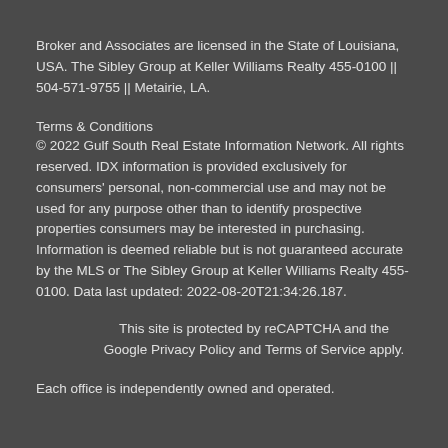Broker and Associates are licensed in the State of Louisiana, USA. The Sibley Group at Keller Williams Realty 455-0100 || 504-571-9755 || Metairie, LA.
Terms & Conditions
© 2022 Gulf South Real Estate Information Network. All rights reserved. IDX information is provided exclusively for consumers' personal, non-commercial use and may not be used for any purpose other than to identify prospective properties consumers may be interested in purchasing. Information is deemed reliable but is not guaranteed accurate by the MLS or The Sibley Group at Keller Williams Realty 455-0100. Data last updated: 2022-08-20T21:34:26.187.
This site is protected by reCAPTCHA and the Google Privacy Policy and Terms of Service apply.
Each office is independently owned and operated.